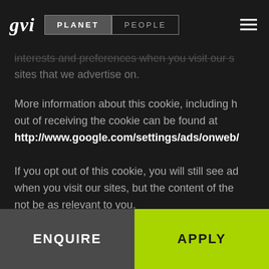[Figure (logo): GVI logo with PLANET and PEOPLE navigation tabs and hamburger menu]
...interests and preferences when you visit our sites that we advertise on.
More information about this cookie, including how to opt out of receiving the cookie can be found at http://www.google.com/settings/ads/onweb/
If you opt out of this cookie, you will still see ads when you visit our sites, but the content of the ads may not be as relevant to you.
We use Facebook technologies such as the Facebook pixel to show you interest-based marketing content...
ENQUIRE
APPLY